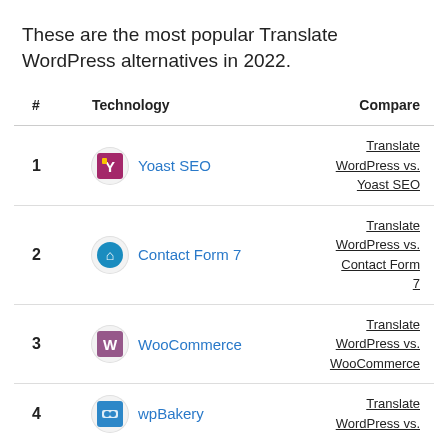These are the most popular Translate WordPress alternatives in 2022.
| # | Technology | Compare |
| --- | --- | --- |
| 1 | Yoast SEO | Translate WordPress vs. Yoast SEO |
| 2 | Contact Form 7 | Translate WordPress vs. Contact Form 7 |
| 3 | WooCommerce | Translate WordPress vs. WooCommerce |
| 4 | wpBakery | Translate WordPress vs. |